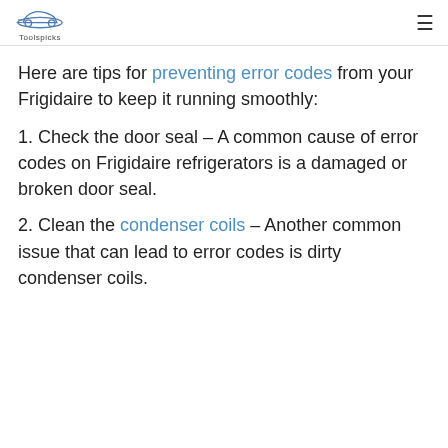Toolspicks
Here are tips for preventing error codes from your Frigidaire to keep it running smoothly:
1. Check the door seal – A common cause of error codes on Frigidaire refrigerators is a damaged or broken door seal.
2. Clean the condenser coils – Another common issue that can lead to error codes is dirty condenser coils.